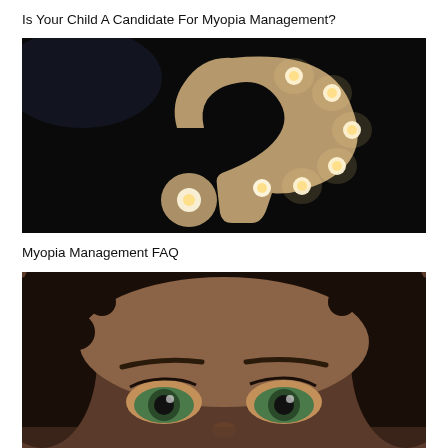Is Your Child A Candidate For Myopia Management?
[Figure (photo): A decorative illuminated question mark sign with light bulbs, photographed against a dark background.]
Myopia Management FAQ
[Figure (photo): Close-up of a young woman with curly hair and green/hazel eyes looking upward, cropped to show forehead and eyes.]